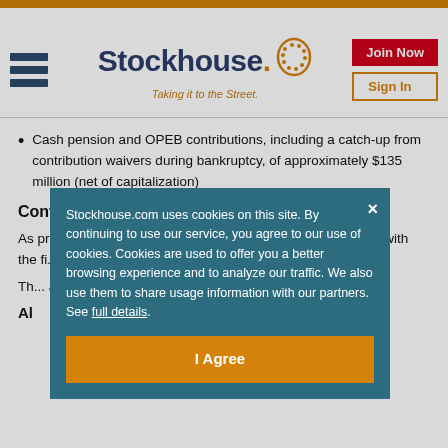[Figure (logo): Stockhouse logo with hamburger menu, 'Join Now' and 'Sign In' buttons]
Cash pension and OPEB contributions, including a catch-up from contribution waivers during bankruptcy, of approximately $135 million (net of capitalization)
Conference Call Information
As previously announced, Frontier will host a conference call with the fi...
Th... ac... re...
Al...
Stockhouse.com uses cookies on this site. By continuing to use our service, you agree to our use of cookies. Cookies are used to offer you a better browsing experience and to analyze our traffic. We also use them to share usage information with our partners. See full details.